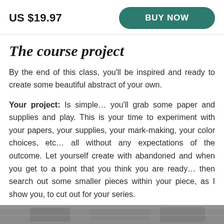US $19.97
BUY NOW
The course project
By the end of this class, you'll be inspired and ready to create some beautiful abstract of your own.
Your project: Is simple… you'll grab some paper and supplies and play. This is your time to experiment with your papers, your supplies, your mark-making, your color choices, etc… all without any expectations of the outcome. Let yourself create with abandoned and when you get to a point that you think you are ready… then search out some smaller pieces within your piece, as I show you, to cut out for your series.
[Figure (photo): Bottom strip of a photograph, partially visible at the bottom of the page.]